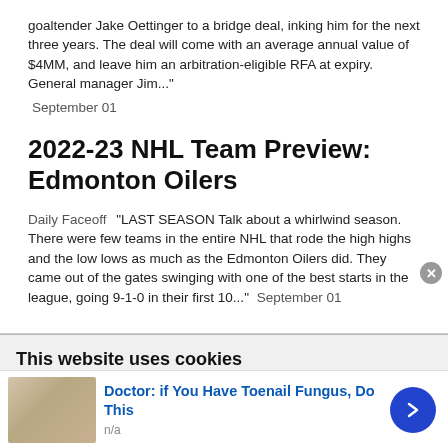goaltender Jake Oettinger to a bridge deal, inking him for the next three years. The deal will come with an average annual value of $4MM, and leave him an arbitration-eligible RFA at expiry. General manager Jim..." September 01
2022-23 NHL Team Preview: Edmonton Oilers
Daily Faceoff  "LAST SEASON Talk about a whirlwind season. There were few teams in the entire NHL that rode the high highs and the low lows as much as the Edmonton Oilers did. They came out of the gates swinging with one of the best starts in the league, going 9-1-0 in their first 10..."  September 01
This website uses cookies
We use cookies to personalise content and ads, to provide social media features and to analyse our traffic. We also share information about your use of our site with our social media, advertising and analytics partners who may combine it with other information that you've provided to them or that they've
Doctor: if You Have Toenail Fungus, Do This
n/a